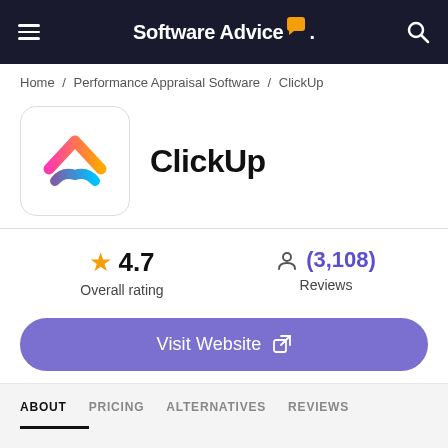Software Advice
Home / Performance Appraisal Software / ClickUp
ClickUp
4.7 Overall rating
(3,108) Reviews
Visit Website
ABOUT  PRICING  ALTERNATIVES  REVIEWS